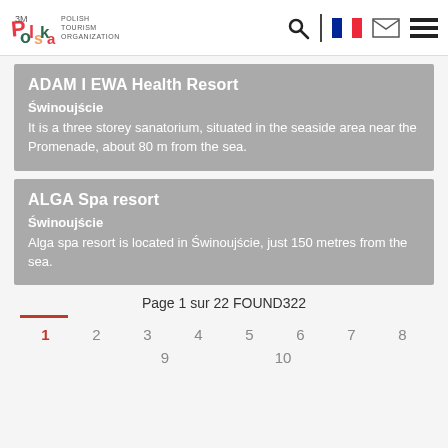Polish Tourism Organization — navigation header with logo, search, French flag, mail, menu
ADAM I EWA Health Resort
Świnoujście
It is a three storey sanatorium, situated in the seaside area near the Promenade, about 80 m from the sea.
ALGA Spa resort
Świnoujście
Alga spa resort is located in Świnoujście, just 150 metres from the sea.
Page 1 sur 22 FOUND322
1  2  3  4  5  6  7  8  9  10